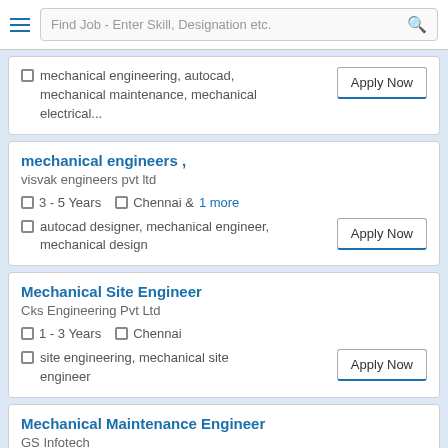Find Job - Enter Skill, Designation etc.
mechanical engineering, autocad, mechanical maintenance, mechanical electrical...
Apply Now
mechanical engineers ,
visvak engineers pvt ltd
3 - 5 Years  Chennai & 1 more
autocad designer, mechanical engineer, mechanical design
Apply Now
Mechanical Site Engineer
Cks Engineering Pvt Ltd
1 - 3 Years  Chennai
site engineering, mechanical site engineer
Apply Now
Mechanical Maintenance Engineer
GS Infotech